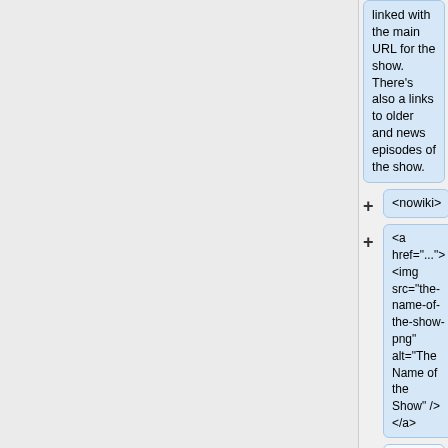linked with the main URL for the show. There's also a links to older and news episodes of the show.
<nowiki>
<a href="..."> <img src="the-name-of-the-show-png" alt="The Name of the Show" /> </a>
<a href="episode122-clip.mpg">